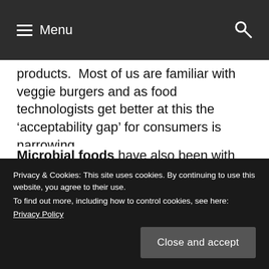≡ Menu  🔍
products.  Most of us are familiar with veggie burgers and as food technologists get better at this the ‘acceptability gap’ for consumers is narrowing.
Microbial foods have also been with us for a while in the form of fungal based substitutes for meat but it seems probable that new bacterially based foods will be on
Privacy & Cookies: This site uses cookies. By continuing to use this website, you agree to their use.
To find out more, including how to control cookies, see here:
Privacy Policy
Close and accept